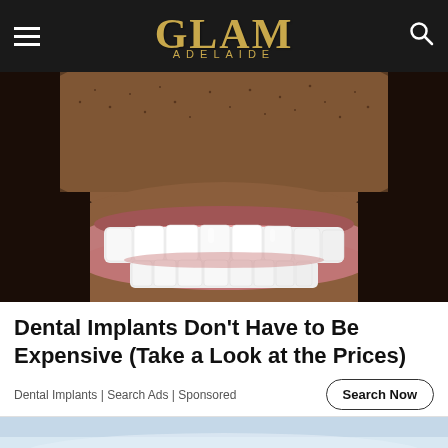GLAM ADELAIDE
[Figure (photo): Close-up photo of a man's smile showing bright white dental implants/veneers, with facial stubble visible. Dark background.]
Dental Implants Don't Have to Be Expensive (Take a Look at the Prices)
Dental Implants | Search Ads | Sponsored
[Figure (photo): Partial view of a landscape photo at the bottom of the page, showing sky and possibly mountains or water.]